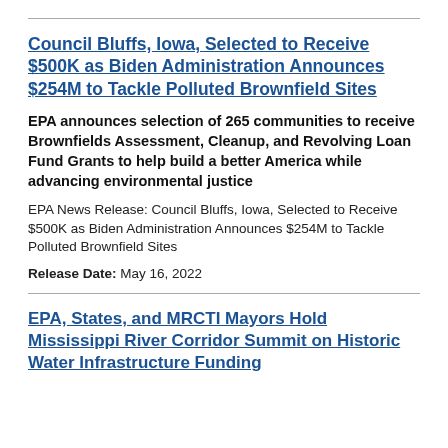Council Bluffs, Iowa, Selected to Receive $500K as Biden Administration Announces $254M to Tackle Polluted Brownfield Sites
EPA announces selection of 265 communities to receive Brownfields Assessment, Cleanup, and Revolving Loan Fund Grants to help build a better America while advancing environmental justice
EPA News Release: Council Bluffs, Iowa, Selected to Receive $500K as Biden Administration Announces $254M to Tackle Polluted Brownfield Sites
Release Date: May 16, 2022
EPA, States, and MRCTI Mayors Hold Mississippi River Corridor Summit on Historic Water Infrastructure Funding